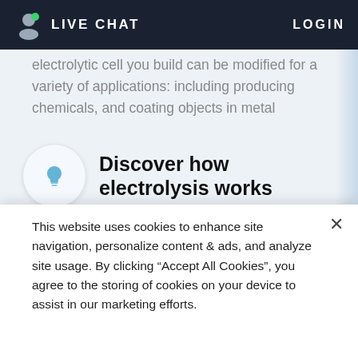LIVE CHAT   LOGIN
electrolytic cell you build can be modified for a variety of applications: including producing chemicals, and coating objects in metal
Discover how electrolysis works
In order for you to modify the electrolytic cell you built, you need to find out how electrolysis works. Dive into an interactive animation, where you will learn the function of the electrolytic cell components, and discover the chemical reactions that occur at each electrode. Return to the Mars lab, where you will test and apply your
This website uses cookies to enhance site navigation, personalize content & ads, and analyze site usage. By clicking “Accept All Cookies”, you agree to the storing of cookies on your device to assist in our marketing efforts.